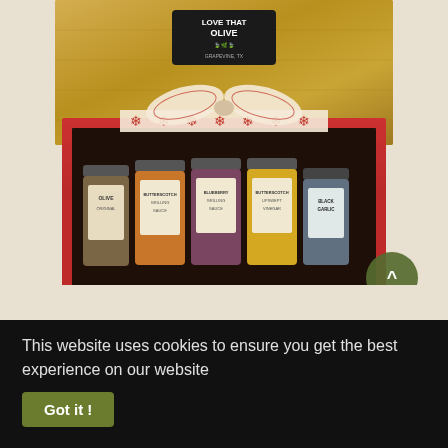[Figure (photo): An open brown cardboard box with a 'Love That Olive' logo sticker on the lid, containing a red gift box with five small jars of olive oil products tied with a decorative red and white snowflake ribbon. The jars include various flavored olive oils and Black Garlic salt.]
This website uses cookies to ensure you get the best experience on our website
Got it !